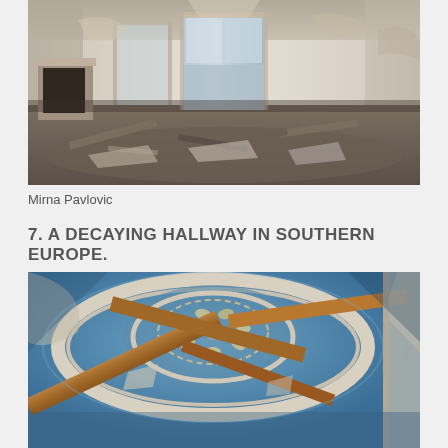[Figure (photo): Interior of an abandoned room in Southern Europe showing collapsed ceiling debris and rubble scattered across the floor, with deteriorating walls, a damaged fireplace, and ornate doorframes still partially visible.]
Mirna Pavlovic
7. A DECAYING HALLWAY IN SOUTHERN EUROPE.
[Figure (photo): Looking upward at a decaying ornate ceiling of an abandoned building showing a circular fresco with blue background and floral motifs, surrounded by crumbling plaster and exposed wooden beams breaking through the ceiling.]